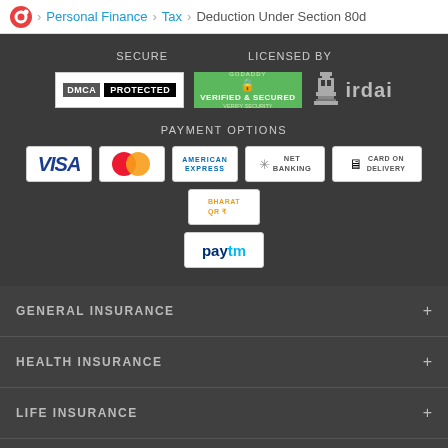Personal Finance > Tax > Deduction Under Section 80d
[Figure (logo): DMCA Protected badge]
[Figure (logo): GoDaddy Verified & Secured badge]
[Figure (logo): IRDAI licensed logo]
SECURE
LICENSED BY
PAYMENT OPTIONS
[Figure (logo): VISA payment option logo]
[Figure (logo): MasterCard payment option logo]
[Figure (logo): American Express payment option logo]
[Figure (logo): Net Banking payment option]
[Figure (logo): Card on Delivery payment option]
[Figure (logo): Bharat QR payment option]
[Figure (logo): Paytm payment option]
GENERAL INSURANCE +
HEALTH INSURANCE +
LIFE INSURANCE +
INSURANCE IN HINDI +